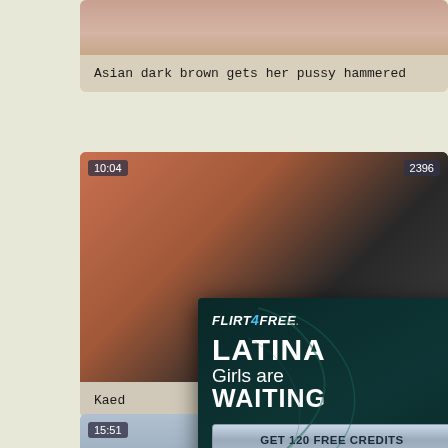[Figure (screenshot): Video thumbnail - top card, partial view of skin tones]
Asian dark brown gets her pussy hammered
[Figure (screenshot): Video thumbnail with time badge 10:04 and view count 2396, warm reddish-orange room scene]
Kaed...
[Figure (screenshot): Video thumbnail partial, badge 15:51]
[Figure (infographic): Flirt4Free advertisement overlay with LATINA Girls are WAITING headline and GET 120 FREE CREDITS button]